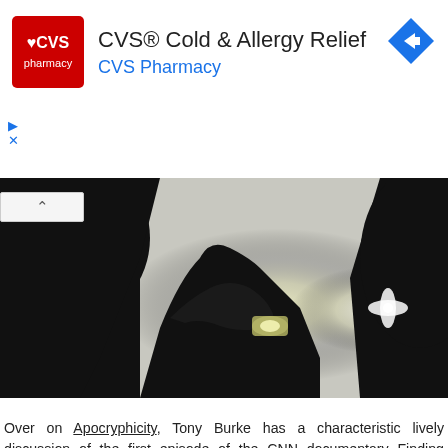[Figure (advertisement): CVS Pharmacy advertisement banner with red CVS logo on left, text 'CVS® Cold & Allergy Relief' and 'CVS Pharmacy' in blue, and a blue diamond navigation arrow icon on the right]
[Figure (photo): Dark silhouette photograph of a person's hand holding a glowing cylindrical object between two dark silhouetted figures, with a bright backlit background]
Over on Apocryphicity, Tony Burke has a characteristic lively discussion of the first episode of the CNN documentary Finding Jesus: Finding Jesus Episode 1: Giving in to the Apocrypha Urge